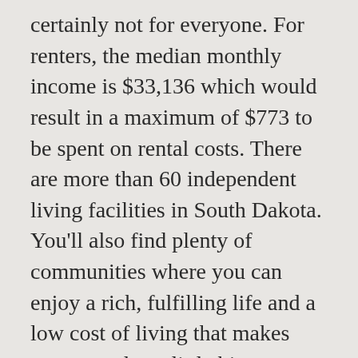certainly not for everyone. For renters, the median monthly income is $33,136 which would result in a maximum of $773 to be spent on rental costs. There are more than 60 independent living facilities in South Dakota. You'll also find plenty of communities where you can enjoy a rich, fulfilling life and a low cost of living that makes every payday a little bigger. Among our neighbors, only Montana had a higher cost of living. Tuition costs are also relatively cheap. I know, you think that's a stupid question becausethe “obvious” answer is that Florida is a much better place to live or retire than South Dakota. Gross Wages. With land aplenty and a low cost of living, South Dakota has become a surprising